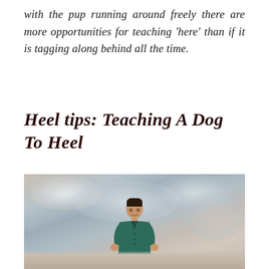with the pup running around freely there are more opportunities for teaching 'here' than if it is tagging along behind all the time.
Heel tips: Teaching A Dog To Heel
[Figure (photo): A man in a dark green polo shirt standing outdoors against a cloudy sky background]